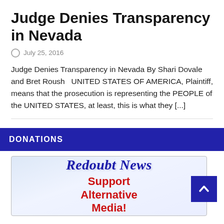Judge Denies Transparency in Nevada
July 25, 2016
Judge Denies Transparency in Nevada By Shari Dovale and Bret Roush   UNITED STATES OF AMERICA, Plaintiff, means that the prosecution is representing the PEOPLE of the UNITED STATES, at least, this is what they [...]
DONATIONS
[Figure (logo): Redoubt News logo with text 'Support Alternative Media!']